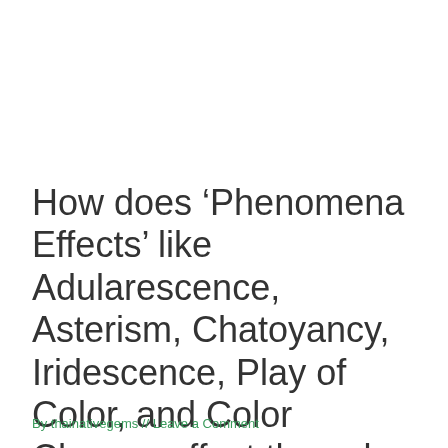How does ‘Phenomena Effects’ like Adularescence, Asterism, Chatoyancy, Iridescence, Play of Color, and Color Change affect the value of gemstones?
By thainativegems // Leave a Comment